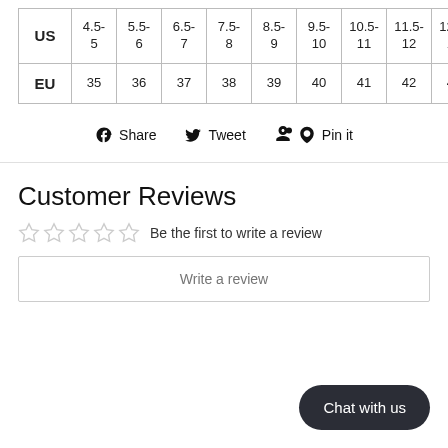| US | 4.5-5 | 5.5-6 | 6.5-7 | 7.5-8 | 8.5-9 | 9.5-10 | 10.5-11 | 11.5-12 | 12.5-13 |
| --- | --- | --- | --- | --- | --- | --- | --- | --- | --- |
| EU | 35 | 36 | 37 | 38 | 39 | 40 | 41 | 42 | 43 |
Share  Tweet  Pin it
Customer Reviews
Be the first to write a review
Write a review
Chat with us